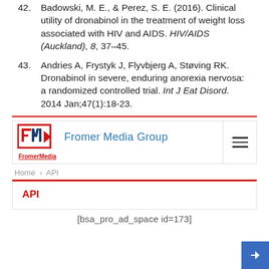42. Badowski, M. E., & Perez, S. E. (2016). Clinical utility of dronabinol in the treatment of weight loss associated with HIV and AIDS. HIV/AIDS (Auckland), 8, 37–45.
43. Andries A, Frystyk J, Flyvbjerg A, Støving RK. Dronabinol in severe, enduring anorexia nervosa: a randomized controlled trial. Int J Eat Disord. 2014 Jan;47(1):18-23.
[Figure (logo): Fromer Media Group logo with red and blue stylized FM icon and blue text 'Fromer Media Group', red underlined sub-text 'FromerMedia']
Home › API
API
[bsa_pro_ad_space id=173]